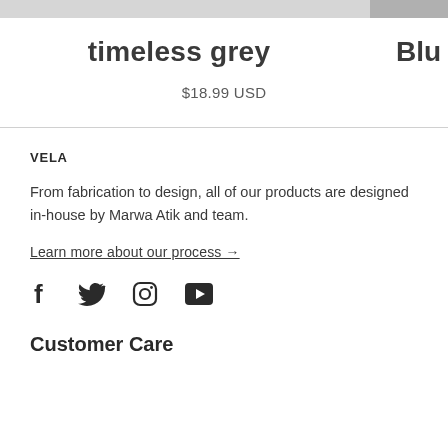[Figure (photo): Partial product image showing clothing item, cropped at top of page with grey tones]
timeless grey
$18.99 USD
Blu
VELA
From fabrication to design, all of our products are designed in-house by Marwa Atik and team.
Learn more about our process →
[Figure (other): Social media icons: Facebook, Twitter, Instagram, YouTube]
Customer Care